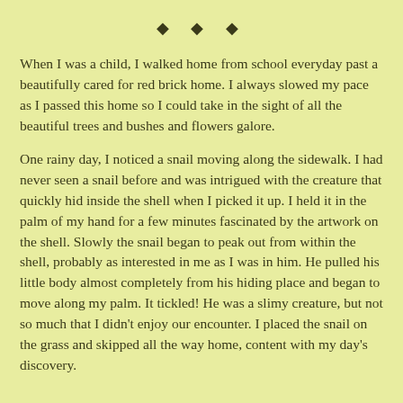♦ ♦ ♦
When I was a child, I walked home from school everyday past a beautifully cared for red brick home. I always slowed my pace as I passed this home so I could take in the sight of all the beautiful trees and bushes and flowers galore.
One rainy day, I noticed a snail moving along the sidewalk. I had never seen a snail before and was intrigued with the creature that quickly hid inside the shell when I picked it up. I held it in the palm of my hand for a few minutes fascinated by the artwork on the shell. Slowly the snail began to peak out from within the shell, probably as interested in me as I was in him. He pulled his little body almost completely from his hiding place and began to move along my palm. It tickled! He was a slimy creature, but not so much that I didn't enjoy our encounter. I placed the snail on the grass and skipped all the way home, content with my day's discovery.